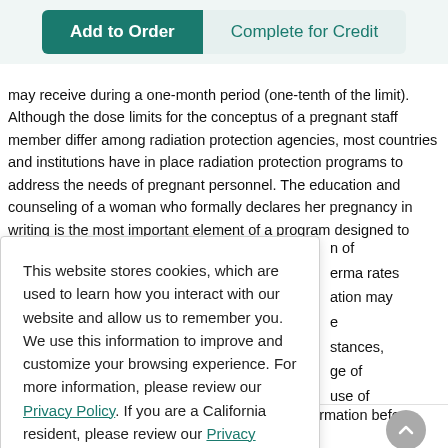[Figure (screenshot): Two tab buttons: 'Add to Order' (active, teal background) and 'Complete for Credit' (inactive, light teal background)]
may receive during a one-month period (one-tenth of the limit). Although the dose limits for the conceptus of a pregnant staff member differ among radiation protection agencies, most countries and institutions have in place radiation protection programs to address the needs of pregnant personnel. The education and counseling of a woman who formally declares her pregnancy in writing is the most important element of a program designed to protect the conceptus of an
This website stores cookies, which are used to learn how you interact with our website and allow us to remember you. We use this information to improve and customize your browsing experience. For more information, please review our Privacy Policy. If you are a California resident, please review our Privacy Notice for California Residents.
n of
erma rates
ation may
e
stances,
ge of
use of
educing
occupational exposure is to gather dosimetry information before pregnancy and